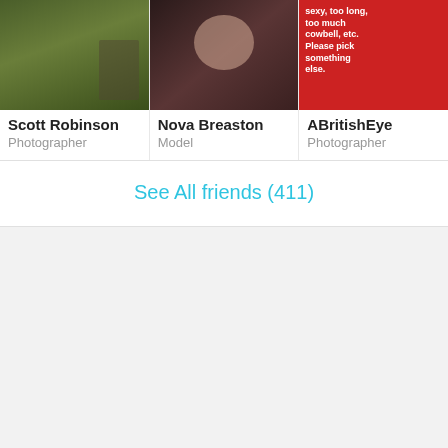[Figure (photo): Three friend profile cards in a horizontal grid. Scott Robinson (Photographer) shows a person in green outdoors. Nova Breaston (Model) shows a woman with dark hair. ABritishEye (Photographer) shows red background with white text.]
Scott Robinson
Photographer
Nova Breaston
Model
ABritishEye
Photographer
See All friends (411)